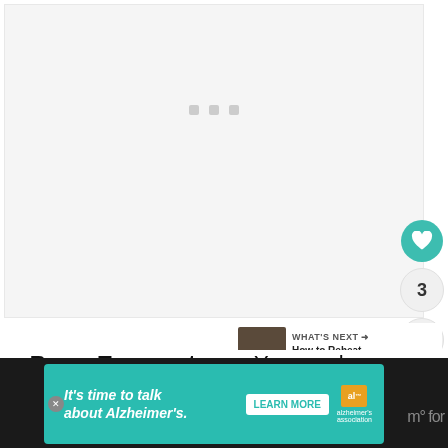[Figure (photo): Large image area in loading/placeholder state with three gray square dots in the center indicating content loading]
[Figure (screenshot): Social interaction sidebar with teal heart/like button, count of 3, and share button with plus icon]
[Figure (screenshot): What's Next card showing thumbnail and text 'How to Reheat Duck Confit ...']
Room Temperature – You can leave
[Figure (infographic): Alzheimer's Association advertisement banner on dark footer: It's time to talk about Alzheimer's. Learn More button and logo.]